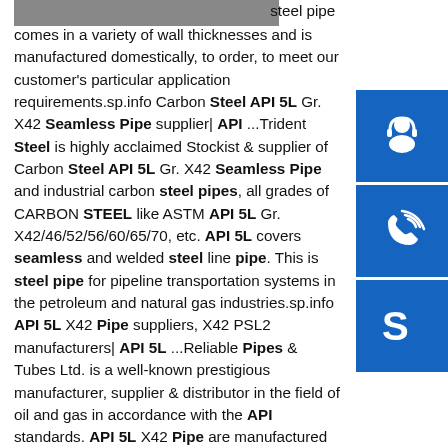[Figure (photo): Partial image of steel pipe at top left, cropped]
steel pipe comes in a variety of wall thicknesses and is manufactured domestically, to order, to meet our customer's particular application requirements.sp.info Carbon Steel API 5L Gr. X42 Seamless Pipe supplier| API ...Trident Steel is highly acclaimed Stockist & supplier of Carbon Steel API 5L Gr. X42 Seamless Pipe and industrial carbon steel pipes, all grades of CARBON STEEL like ASTM API 5L Gr. X42/46/52/56/60/65/70, etc. API 5L covers seamless and welded steel line pipe. This is steel pipe for pipeline transportation systems in the petroleum and natural gas industries.sp.info API 5L X42 Pipe suppliers, X42 PSL2 manufacturers| API 5L ...Reliable Pipes & Tubes Ltd. is a well-known prestigious manufacturer, supplier & distributor in the field of oil and gas in accordance with the API standards. API 5L X42 Pipe are manufactured as agreed upon the execution of the order. Reliable Pipes' API 5L X42 Pipe are distinct products ranging in sizes, grades and the coating to meet up with the requirements of the
[Figure (illustration): Blue icon box with white headset/customer service icon]
[Figure (illustration): Blue icon box with white phone/call icon]
[Figure (illustration): Blue icon box with white Skype icon]